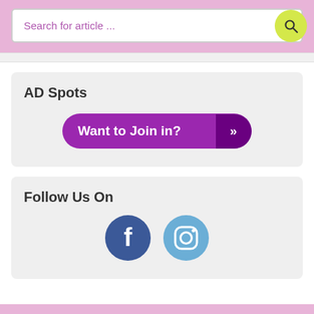[Figure (screenshot): Search bar with placeholder text 'Search for article ...' and a yellow-green circular search button on a pink/mauve background header]
AD Spots
[Figure (infographic): Purple button with text 'Want to Join in?' and double chevron arrows on the right side in darker purple]
Follow Us On
[Figure (infographic): Facebook and Instagram circular social media icons in blue tones]